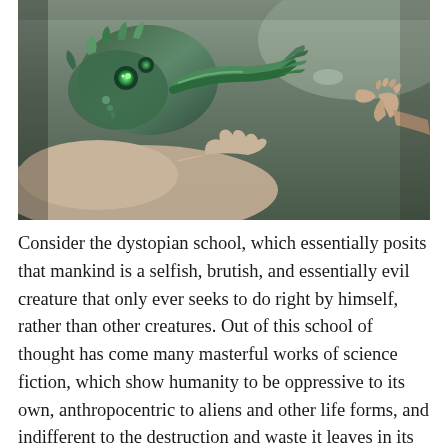[Figure (illustration): A digitally manipulated version of Michelangelo's Creation of Adam showing a cybernetic/alien creature with mechanical tentacles on the left reaching toward a human hand on the right, rendered in dark green and grey tones.]
Consider the dystopian school, which essentially posits that mankind is a selfish, brutish, and essentially evil creature that only ever seeks to do right by himself, rather than other creatures. Out of this school of thought has come many masterful works of science fiction, which show humanity to be oppressive to its own, anthropocentric to aliens and other life forms, and indifferent to the destruction and waste it leaves in its wake.
And of course, there’s the even older Utopia school, which presents us with a future where mankind’s